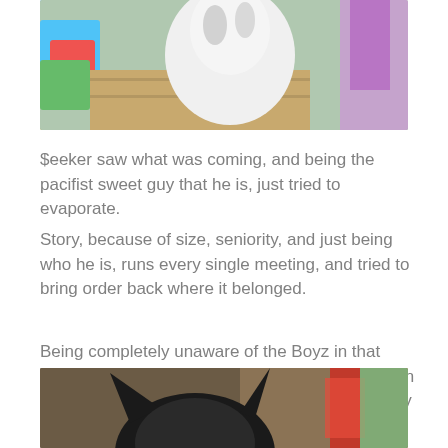[Figure (photo): Partial photo of a white/grey cat on a wooden surface with colorful items in background]
$eeker saw what was coming, and being the pacifist sweet guy that he is, just tried to evaporate.
Story, because of size, seniority, and just being who he is, runs every single meeting, and tried to bring order back where it belonged.
Being completely unaware of the Boyz in that moment, Rhumb was absorbed with her reflection in the window and just couldn't get over how sexy she was.
[Figure (photo): Partial photo of a black cat, showing top of head and ears, with wooden background and red object]